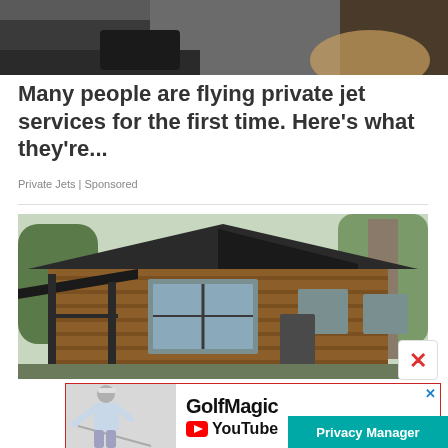[Figure (photo): Top cropped photo showing hands/legs near a car door, dark tones]
Many people are flying private jet services for the first time. Here's what they're...
Private Jets | Sponsored
[Figure (photo): Photo of a modern wooden lodge/cabin style home with dark roof and large windows]
[Figure (screenshot): GolfMagic YouTube advertisement banner with a golfer on the left and GolfMagic YouTube logo text on the right]
Privacy Manager